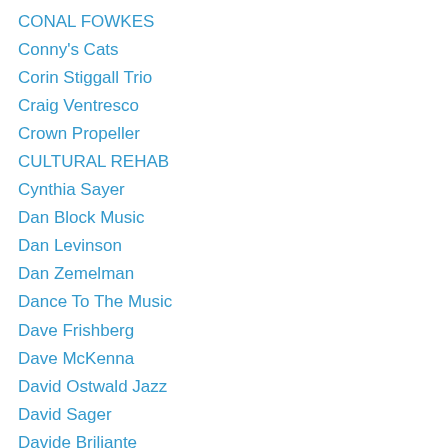CONAL FOWKES
Conny's Cats
Corin Stiggall Trio
Craig Ventresco
Crown Propeller
CULTURAL REHAB
Cynthia Sayer
Dan Block Music
Dan Levinson
Dan Zemelman
Dance To The Music
Dave Frishberg
Dave McKenna
David Ostwald Jazz
David Sager
Davide Briliante
Dawn Lambeth and the Usonia Jazz Band
Dennis Lichtman
DevraDoWrite
Dexter Gordon